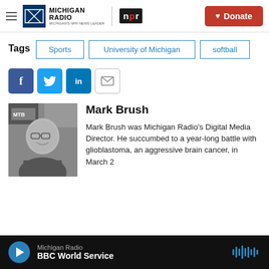Michigan Radio | NPR | Donate
Tags  Sports  University of Michigan  softball
[Figure (other): Social sharing icons: Facebook, Twitter, LinkedIn, Email]
[Figure (photo): Black and white photo of Mark Brush smiling, wearing glasses, with MTB text visible in background]
Mark Brush
Mark Brush was Michigan Radio's Digital Media Director. He succumbed to a year-long battle with glioblastoma, an aggressive brain cancer, in March 2
Michigan Radio  BBC World Service